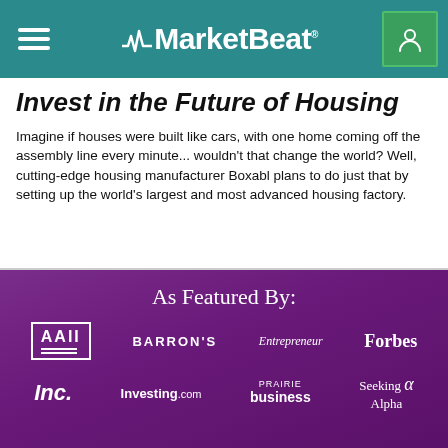MarketBeat
Invest in the Future of Housing
Imagine if houses were built like cars, with one home coming off the assembly line every minute... wouldn't that change the world? Well, cutting-edge housing manufacturer Boxabl plans to do just that by setting up the world's largest and most advanced housing factory.
As Featured By:
[Figure (logo): Logos of media outlets: AAII, BARRON'S, Entrepreneur, Forbes, Inc., Investing.com, PRAIRIE business, Seeking Alpha]